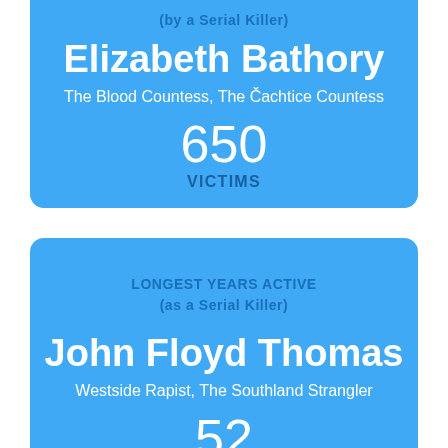(by a Serial Killer)
Elizabeth Bathory
The Blood Countess, The Čachtice Countess
650
VICTIMS
LONGEST YEARS ACTIVE
(as a Serial Killer)
John Floyd Thomas
Westside Rapist, The Southland Strangler
52
YEARS